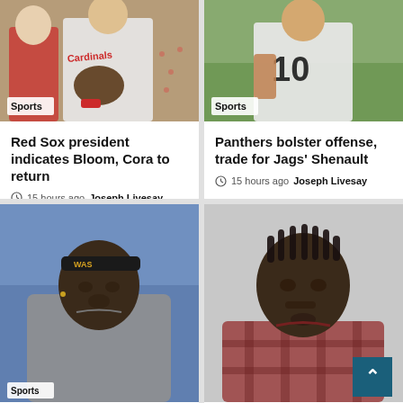[Figure (photo): Cardinals baseball player with glove, two players visible]
Red Sox president indicates Bloom, Cora to return
15 hours ago  Joseph Livesay
[Figure (photo): Football player wearing jersey number 10 in white uniform]
Panthers bolster offense, trade for Jags' Shenault
15 hours ago  Joseph Livesay
[Figure (photo): Washington football player with headband warming up on field]
[Figure (photo): Young man in plaid shirt against grey background]